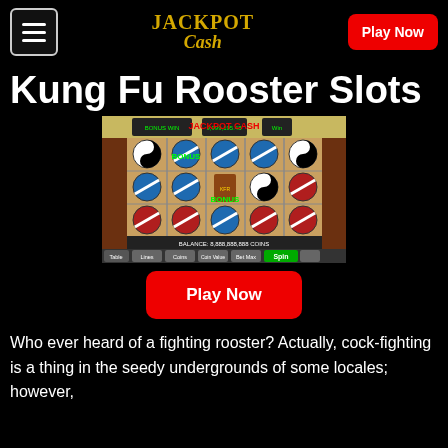JACKPOT Cash — Play Now
Kung Fu Rooster Slots
[Figure (screenshot): Screenshot of Kung Fu Rooster slot machine game showing reels with yin-yang symbols, blue and red circular symbols, BONUS text, balance display, and game controls including Lines, Coins, Coin Value, Bet Max, and Spin buttons.]
Play Now
Who ever heard of a fighting rooster? Actually, cock-fighting is a thing in the seedy undergrounds of some locales; however,